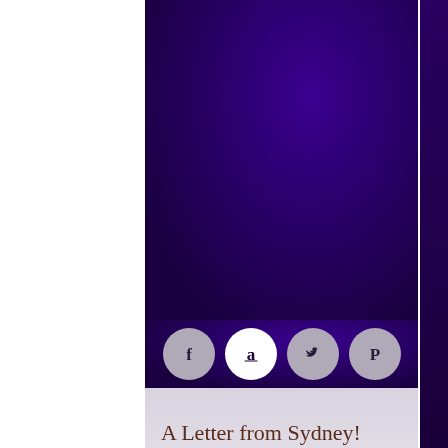[Figure (screenshot): Screenshot of a website/newsletter page with a dark purple gradient background on the right two-thirds, white strip on the left, social media icon circles (Facebook, Amazon, Twitter, Pinterest) in a row, a light gray-purple title band reading 'A Letter from Sydney!', and a blurred photo of a person at the bottom.]
A Letter from Sydney!